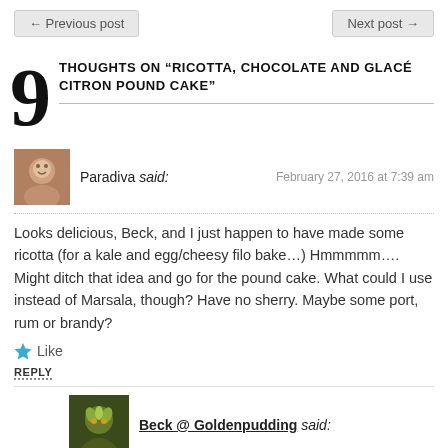← Previous post    Next post →
9 THOUGHTS ON "RICOTTA, CHOCOLATE AND GLACÉ CITRON POUND CAKE"
Paradiva said:   February 27, 2016 at 7:39 am
Looks delicious, Beck, and I just happen to have made some ricotta (for a kale and egg/cheesy filo bake…) Hmmmmm…. Might ditch that idea and go for the pound cake. What could I use instead of Marsala, though? Have no sherry. Maybe some port, rum or brandy?
★ Like
REPLY
Beck @ Goldenpudding said:   February 27, 2016 at 8:26 am